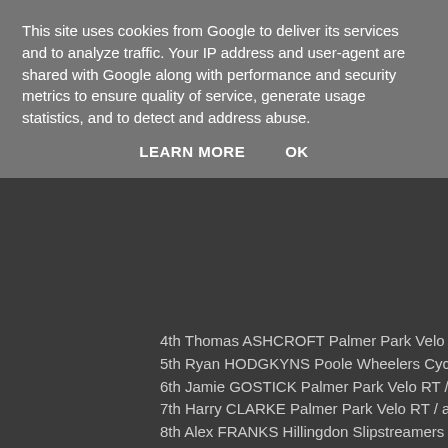This site uses cookies from Google to deliver its services and to analyze traffic. Your IP address and user-agent are shared with Google along with performance and security metrics to ensure quality of service, generate usage statistics, and to detect and address abuse.
LEARN MORE    OK
4th Thomas ASHCROFT Palmer Park Velo RT / awcycles
5th Ryan HODGKYNS Poole Wheelers Cycling Club
6th Jamie GOSTICK Palmer Park Velo RT / awcycles
7th Harry CLARKE Palmer Park Velo RT / awcycles
8th Alex FRANKS Hillingdon Slipstreamers
9th George EVANS
10th Poppy LLEWELLYN Poole Wheelers Cycling Club
YOUTH U12/10: HANDICAP
1st James ASHCROFT Palmer Park Velo RT / awcycles
2nd Ryan HODGKYNS Poole Wheelers Cycling Club
3rd Jed SMITHSON Hillingdon Slipstreamers
4th Alex FRANKS Hillingdon Slipstreamers
5th Harry CLARKE Palmer Park Velo RT / awcycles
6th Thomas DAY Poole Wheelers Cycling Club
7th Thomas ASHCROFT Palmer Park Velo RT / awcycles
8th Poppy LLEWELLYN Poole Wheelers Cycling Club
YOUTH U12/U10: SPRINT